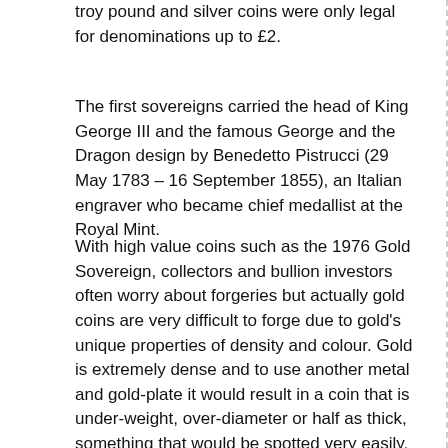troy pound and silver coins were only legal for denominations up to £2.
The first sovereigns carried the head of King George III and the famous George and the Dragon design by Benedetto Pistrucci (29 May 1783 – 16 September 1855), an Italian engraver who became chief medallist at the Royal Mint.
With high value coins such as the 1976 Gold Sovereign, collectors and bullion investors often worry about forgeries but actually gold coins are very difficult to forge due to gold's unique properties of density and colour. Gold is extremely dense and to use another metal and gold-plate it would result in a coin that is under-weight, over-diameter or half as thick, something that would be spotted very easily. More difficult to spot would be a bullion coin melted down and re-cast as a highly collectable date, but an expert can usually tell these too. You should always use reputable dealers.